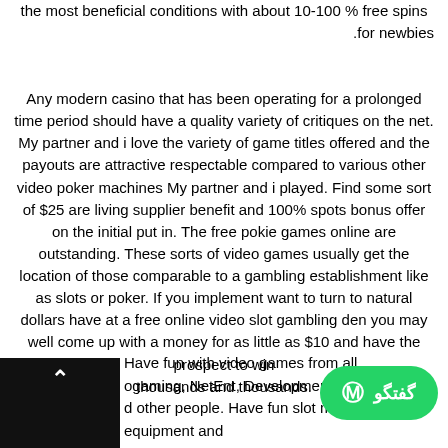the most beneficial conditions with about 10-100 % free spins for newbies.
Any modern casino that has been operating for a prolonged time period should have a quality variety of critiques on the net. My partner and i love the variety of game titles offered and the payouts are attractive respectable compared to various other video poker machines My partner and i played. Find some sort of $25 are living supplier benefit and 100% spots bonus offer on the initial put in. The free pokie games online are outstanding. These sorts of video games usually get the location of those comparable to a gambling establishment like as slots or poker. If you implement want to turn to natural dollars have at a free online video slot gambling den you may well come up with a money for as little as $10 and have the prospect to win thousands and thousands.
Have fun with video games from all rogaming, NetEnt, Development, Nyx, Have d other people. Have fun slot machine game equipment and